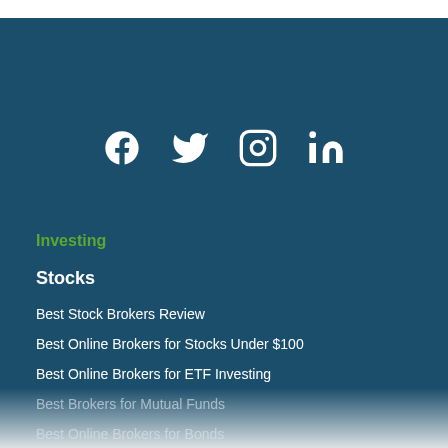[Figure (other): Social media icons row: Facebook, Twitter, Instagram, LinkedIn]
Investing
Stocks
Best Stock Brokers Review
Best Online Brokers for Stocks Under $100
Best Online Brokers for ETF Investing
Best Brokers for Mutual Funds
Best Online Brokers for Bonds